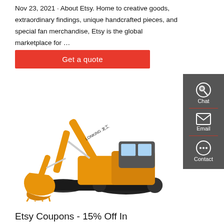Nov 23, 2021 · About Etsy. Home to creative goods, extraordinary findings, unique handcrafted pieces, and special fan merchandise, Etsy is the global marketplace for …
[Figure (other): Red button labeled 'Get a quote']
[Figure (photo): Lonking brand yellow excavator construction machine on white background]
[Figure (other): Dark sidebar with Chat, Email, and Contact icons]
Etsy Coupons - 15% Off In